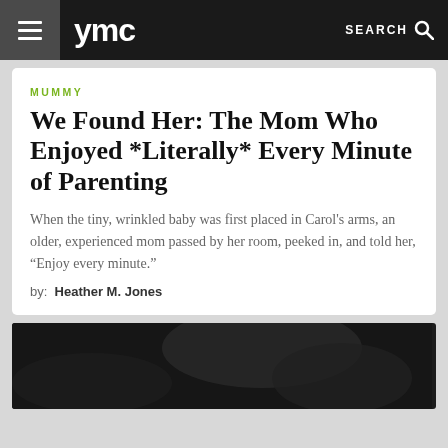ymc  SEARCH
MUMMY
We Found Her: The Mom Who Enjoyed *Literally* Every Minute of Parenting
When the tiny, wrinkled baby was first placed in Carol’s arms, an older, experienced mom passed by her room, peeked in, and told her, “Enjoy every minute.”
by: Heather M. Jones
[Figure (photo): Dark blurry black and white photograph, partial view]